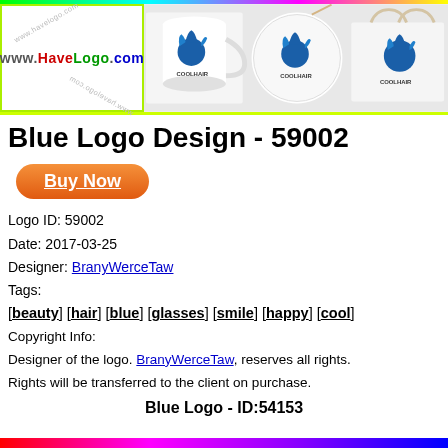[Figure (logo): HaveLogo.com branded banner showing a blue pineapple/cool hair logo on a mug, round badge, and bag with COOLHAIR text]
Blue Logo Design - 59002
Buy Now
Logo ID: 59002
Date: 2017-03-25
Designer: BranyWerceTaw
Tags:
[beauty] [hair] [blue] [glasses] [smile] [happy] [cool]
Copyright Info:
Designer of the logo. BranyWerceTaw, reserves all rights. Rights will be transferred to the client on purchase.
Blue Logo - ID:54153